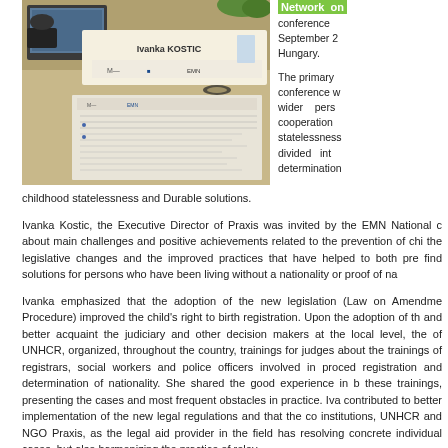[Figure (photo): Photo of a conference table with a name placard reading 'Ivanka KOSTIC' and EMN logos visible on the placard and on documents on the table. A laptop and conference microphone are visible.]
Network on conference September 2 Hungary.
The primary conference w wider pers cooperation statelessness divided int determination childhood statelessness and Durable solutions.
Ivanka Kostic, the Executive Director of Praxis was invited by the EMN National c about main challenges and positive achievements related to the prevention of chi the legislative changes and the improved practices that have helped to both pre find solutions for persons who have been living without a nationality or proof of na
Ivanka emphasized that the adoption of the new legislation (Law on Amendme Procedure) improved the child’s right to birth registration. Upon the adoption of th and better acquaint the judiciary and other decision makers at the local level, the of UNHCR, organized, throughout the country, trainings for judges about the trainings of registrars, social workers and police officers involved in proced registration and determination of nationality. She shared the good experience in b these trainings, presenting the cases and most frequent obstacles in practice. Iva contributed to better implementation of the new legal regulations and that the co institutions, UNHCR and NGO Praxis, as the legal aid provider in the field has resolving concrete individual cases, but also harmonizing the practice of relev